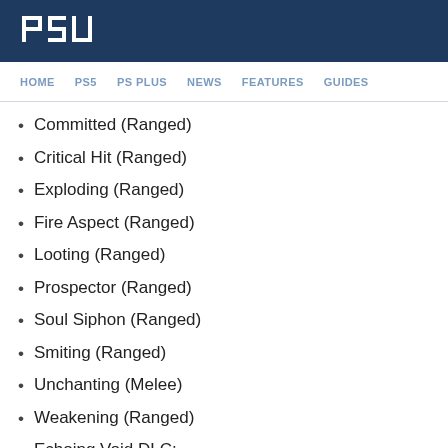PSU
HOME  PS5  PS PLUS  NEWS  FEATURES  GUIDES
Committed (Ranged)
Critical Hit (Ranged)
Exploding (Ranged)
Fire Aspect (Ranged)
Looting (Ranged)
Prospector (Ranged)
Soul Siphon (Ranged)
Smiting (Ranged)
Unchanting (Melee)
Weakening (Ranged)
Echoing Void DLC:
DLC Features
The...